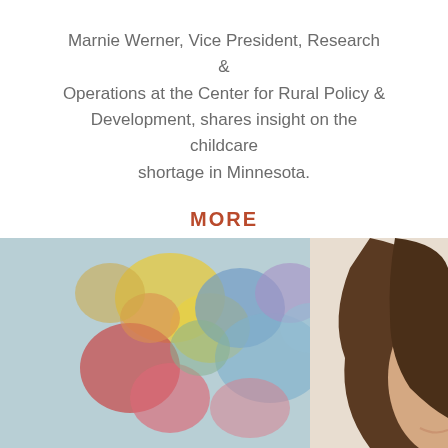Marnie Werner, Vice President, Research & Operations at the Center for Rural Policy & Development, shares insight on the childcare shortage in Minnesota.
MORE
[Figure (photo): Photo of a woman with long brown hair smiling, with a colorful abstract painting blurred in the background.]